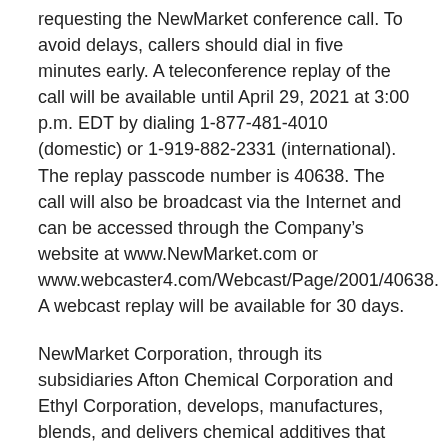requesting the NewMarket conference call. To avoid delays, callers should dial in five minutes early. A teleconference replay of the call will be available until April 29, 2021 at 3:00 p.m. EDT by dialing 1-877-481-4010 (domestic) or 1-919-882-2331 (international). The replay passcode number is 40638. The call will also be broadcast via the Internet and can be accessed through the Company's website at www.NewMarket.com or www.webcaster4.com/Webcast/Page/2001/40638. A webcast replay will be available for 30 days.
NewMarket Corporation, through its subsidiaries Afton Chemical Corporation and Ethyl Corporation, develops, manufactures, blends, and delivers chemical additives that enhance the performance of petroleum products. From custom-formulated additive packages to market-general additives, the NewMarket family of companies provides the world with the technology to make engines run smoother, machines last longer, and fuels burn